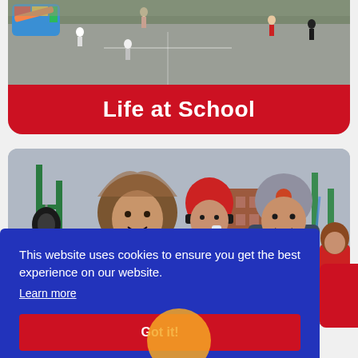[Figure (photo): Aerial view of children playing on a school playground with colorful equipment]
Life at School
[Figure (photo): Three children in winter coats and hats smiling in a school playground with tyre swings]
This website uses cookies to ensure you get the best experience on our website.
Learn more
Got it!